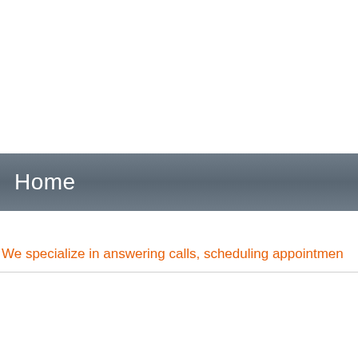Home
We specialize in answering calls, scheduling appointments